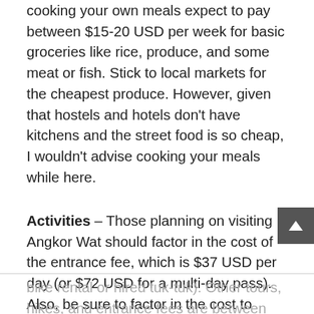cooking your own meals expect to pay between $15-20 USD per week for basic groceries like rice, produce, and some meat or fish. Stick to local markets for the cheapest produce. However, given that hostels and hotels don't have kitchens and the street food is so cheap, I wouldn't advise cooking your meals while here.
Activities – Those planning on visiting Angkor Wat should factor in the cost of the entrance fee, which is $37 USD per day (or $72 USD for a multi-day pass). Also, be sure to factor in the cost to travel there (either by
bike rental or hired tuk-tuk). Other tours, hikes, and entrance fees are between $10-20